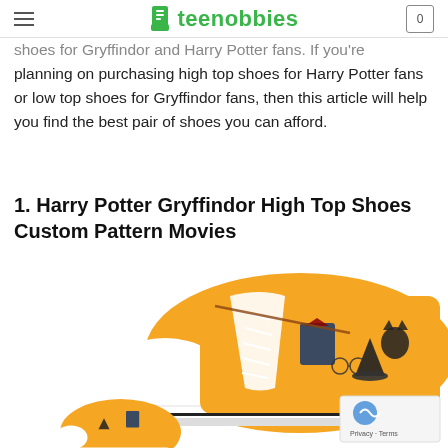teenobbies
shoes for Gryffindor and Harry Potter fans. If you're planning on purchasing high top shoes for Harry Potter fans or low top shoes for Gryffindor fans, then this article will help you find the best pair of shoes you can afford.
1. Harry Potter Gryffindor High Top Shoes Custom Pattern Movies
[Figure (photo): A pair of high top sneakers with orange/yellow background featuring Harry Potter Gryffindor themed pattern including house crests, wizards hats, broomsticks, glasses, and other HP icons. The shoes have white soles and white laces. A smaller shoe is visible in the bottom left corner.]